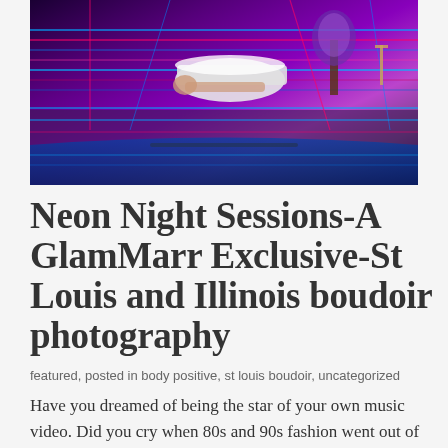[Figure (photo): Neon night photography scene with a person lying next to a white bathtub outdoors, surrounded by glowing neon light strips in blue, pink and red against a dark purple-lit background with plants and decorative elements]
Neon Night Sessions-A GlamMarr Exclusive-St Louis and Illinois boudoir photography
featured, posted in body positive, st louis boudoir, uncategorized
Have you dreamed of being the star of your own music video. Did you cry when 80s and 90s fashion went out of style? Do you want your own sexy photos that are so BOLD that they will turn people's heads that see them